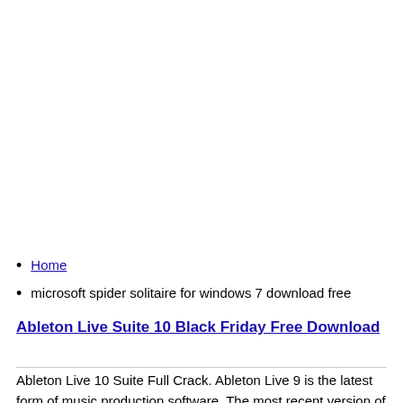Home
microsoft spider solitaire for windows 7 download free
Ableton Live Suite 10 Black Friday Free Download
Ableton Live 10 Suite Full Crack. Ableton Live 9 is the latest form of music production software. The most recent version of Ableton Live comes with a number of upgrades in the process. It is the